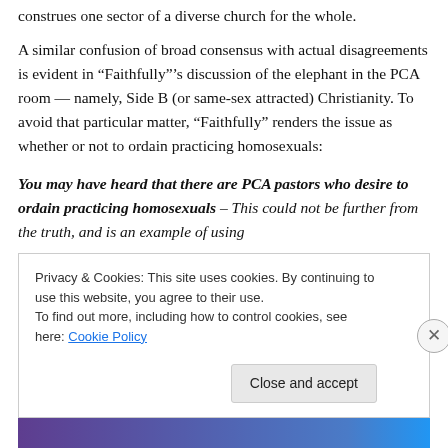construes one sector of a diverse church for the whole.
A similar confusion of broad consensus with actual disagreements is evident in “Faithfully”’s discussion of the elephant in the PCA room — namely, Side B (or same-sex attracted) Christianity. To avoid that particular matter, “Faithfully” renders the issue as whether or not to ordain practicing homosexuals:
You may have heard that there are PCA pastors who desire to ordain practicing homosexuals – This could not be further from the truth, and is an example of using
Privacy & Cookies: This site uses cookies. By continuing to use this website, you agree to their use.
To find out more, including how to control cookies, see here: Cookie Policy